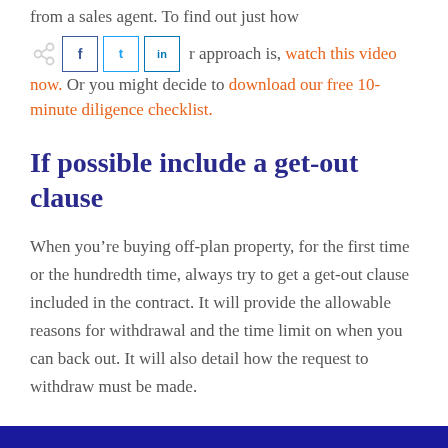from a sales agent. To find out just how competitive our approach is, watch this video now. Or you might decide to download our free 10-minute diligence checklist.
If possible include a get-out clause
When you’re buying off-plan property, for the first time or the hundredth time, always try to get a get-out clause included in the contract. It will provide the allowable reasons for withdrawal and the time limit on when you can back out. It will also detail how the request to withdraw must be made.